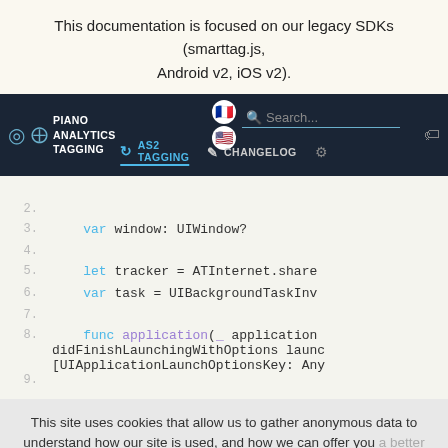This documentation is focused on our legacy SDKs (smarttag.js, Android v2, iOS v2).
[Figure (screenshot): Navigation bar with Piano Analytics Tagging logo, language flags (French, US), search box, AS2 TAGGING tab (active), CHANGELOG tab, and settings/tag icons on dark navy background]
[Figure (screenshot): Code editor area showing Swift/iOS code with line numbers 2-9. Line 3: var window: UIWindow? Line 5: let tracker = ATInternet.share Line 6: var task = UIBackgroundTaskInv Line 8: func application(_ application didFinishLaunchingWithOptions launc [UIApplicationLaunchOptionsKey: Any Line 9: (partial)]
This site uses cookies that allow us to gather anonymous data to understand how our site is used, and how we can offer you a better user experience.
Refuse
Accept